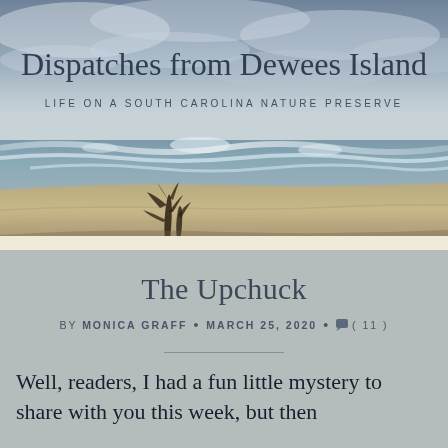[Figure (photo): Beach scene with ocean waves, cloudy sky, and driftwood on sandy shore — header image for 'Dispatches from Dewees Island' blog]
Dispatches from Dewees Island
LIFE ON A SOUTH CAROLINA NATURE PRESERVE
The Upchuck
by MONICA GRAFF • MARCH 25, 2020 • (11)
Well, readers, I had a fun little mystery to share with you this week, but then